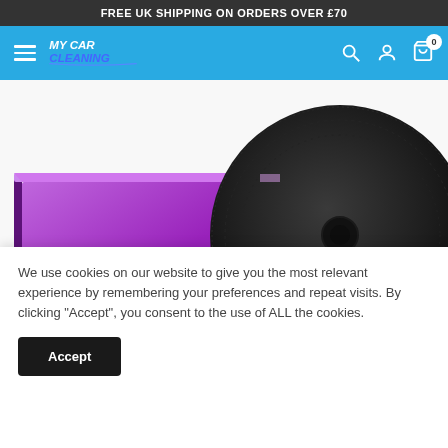FREE UK SHIPPING ON ORDERS OVER £70
[Figure (screenshot): My Car Cleaning website navigation bar with hamburger menu, logo, search icon, account icon, and cart icon showing 0 items]
[Figure (photo): Purple rectangular product box next to a black circular foam polishing pad on white/grey background]
We use cookies on our website to give you the most relevant experience by remembering your preferences and repeat visits. By clicking “Accept”, you consent to the use of ALL the cookies.
Accept